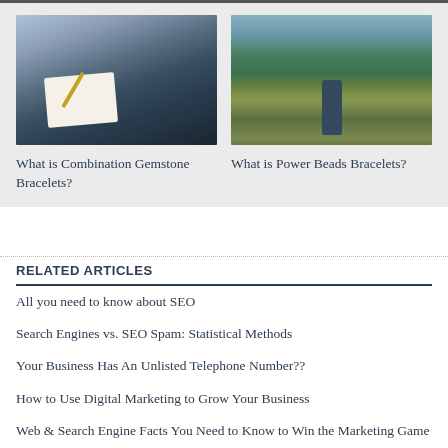[Figure (photo): Person writing at a desk with a laptop in the background]
What is Combination Gemstone Bracelets?
[Figure (photo): Person hiking on a mountain trail with a backpack]
What is Power Beads Bracelets?
RELATED ARTICLES
All you need to know about SEO
Search Engines vs. SEO Spam: Statistical Methods
Your Business Has An Unlisted Telephone Number??
How to Use Digital Marketing to Grow Your Business
Web & Search Engine Facts You Need to Know to Win the Marketing Game